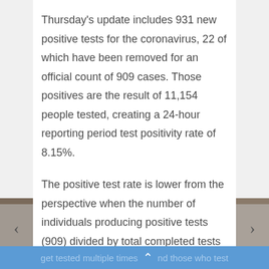Thursday's update includes 931 new positive tests for the coronavirus, 22 of which have been removed for an official count of 909 cases. Those positives are the result of 11,154 people tested, creating a 24-hour reporting period test positivity rate of 8.15%.
The positive test rate is lower from the perspective when the number of individuals producing positive tests (909) divided by total completed tests (19,743). In that case, the positivity rate is 4.60%.
The “tests completed” number is always higher than the “people tested” metric because some people get tested multiple times and those who test